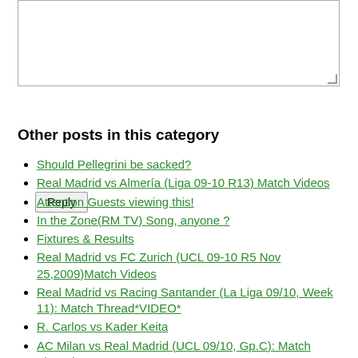[Figure (other): Text input textarea box for composing a reply]
Reply
Other posts in this category
Should Pellegrini be sacked?
Real Madrid vs Almería (Liga 09-10 R13) Match Videos
Attention Guests viewing this!
In the Zone(RM TV) Song, anyone ?
Fixtures & Results
Real Madrid vs FC Zurich (UCL 09-10 R5 Nov 25,2009)Match Videos
Real Madrid vs Racing Santander (La Liga 09/10, Week 11): Match Thread*VIDEO*
R. Carlos vs Kader Keita
AC Milan vs Real Madrid (UCL 09/10, Gp.C): Match Thread *VIDEO*
Real Madrid vs Getafe (La Liga 09/10, Week 9): Match Thread *VIDEO*